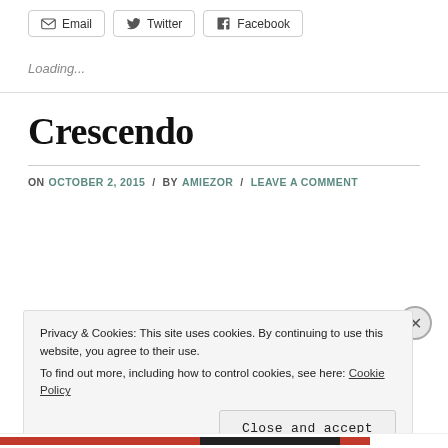[Figure (other): Share buttons: Email, Twitter, Facebook]
Loading...
Crescendo
ON OCTOBER 2, 2015 / BY AMIEZOR / LEAVE A COMMENT
Privacy & Cookies: This site uses cookies. By continuing to use this website, you agree to their use.
To find out more, including how to control cookies, see here: Cookie Policy
Close and accept